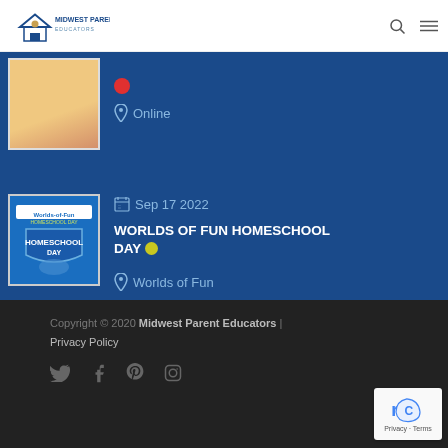Midwest Parent Educators
[Figure (screenshot): Event card with red dot indicator and Online location for event at top]
Online
[Figure (illustration): Worlds of Fun Homeschool Day event image with blue shield logo]
Sep 17 2022
WORLDS OF FUN HOMESCHOOL DAY
Worlds of Fun
Copyright © 2020 Midwest Parent Educators | Privacy Policy